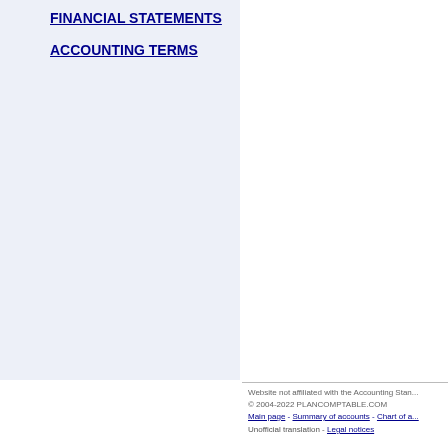FINANCIAL STATEMENTS
ACCOUNTING TERMS
Website not affiliated with the Accounting Sta... © 2004-2022 PLANCOMPTABLE.COM Main page - Summary of accounts - Chart of a... Unofficial translation - Legal notices